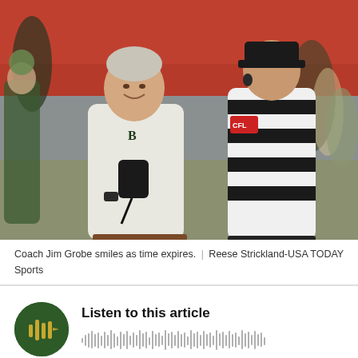[Figure (photo): Coach Jim Grobe smiling on the sideline speaking with a football referee in black and white stripes. Players in green and gold uniforms visible in background on a red stadium field.]
Coach Jim Grobe smiles as time expires.  |  Reese Strickland-USA TODAY Sports
[Figure (infographic): Audio player widget with dark green circular play button featuring golden sound bar icon, and a waveform visualization bar next to text 'Listen to this article']